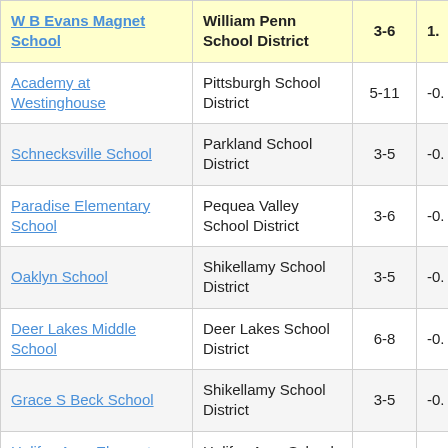| School | District | Grades | Value |
| --- | --- | --- | --- |
| W B Evans Magnet School | William Penn School District | 3-6 | 1. |
| Academy at Westinghouse | Pittsburgh School District | 5-11 | -0. |
| Schnecksville School | Parkland School District | 3-5 | -0. |
| Paradise Elementary School | Pequea Valley School District | 3-6 | -0. |
| Oaklyn School | Shikellamy School District | 3-5 | -0. |
| Deer Lakes Middle School | Deer Lakes School District | 6-8 | -0. |
| Grace S Beck School | Shikellamy School District | 3-5 | -0. |
| Halifax Area Elementary School | Halifax Area School District | 3-5 | -0. |
| (partial row) | Hanufield A... |  |  |